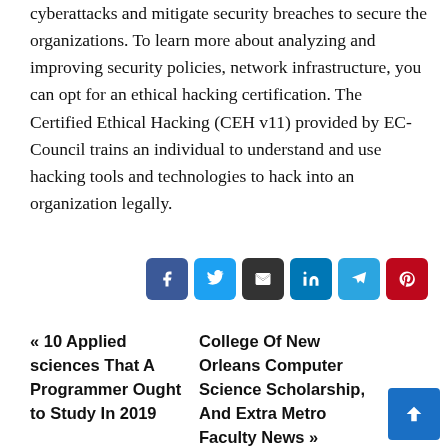cyberattacks and mitigate security breaches to secure the organizations. To learn more about analyzing and improving security policies, network infrastructure, you can opt for an ethical hacking certification. The Certified Ethical Hacking (CEH v11) provided by EC-Council trains an individual to understand and use hacking tools and technologies to hack into an organization legally.
[Figure (other): Row of six social share buttons: Facebook (dark blue), Twitter (light blue), Email (dark/black), LinkedIn (blue), Telegram (blue), Pinterest (red)]
« 10 Applied sciences That A Programmer Ought to Study In 2019
College Of New Orleans Computer Science Scholarship, And Extra Metro Faculty News »